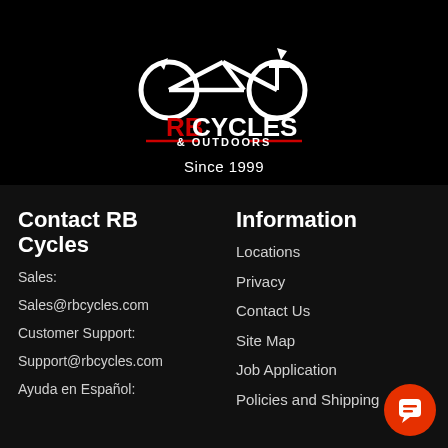[Figure (logo): RB Cycles & Outdoors logo: bicycle icon in white on black background, RB in red, CYCLES in white, & OUTDOORS below with red lines]
Since 1999
Contact RB Cycles
Sales:
Sales@rbcycles.com
Customer Support:
Support@rbcycles.com
Ayuda en Español:
Information
Locations
Privacy
Contact Us
Site Map
Job Application
Policies and Shipping